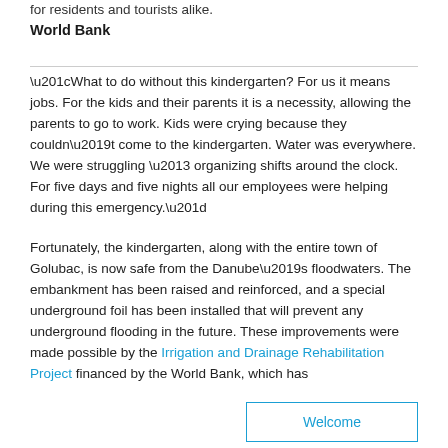for residents and tourists alike.
World Bank
“What to do without this kindergarten? For us it means jobs. For the kids and their parents it is a necessity, allowing the parents to go to work. Kids were crying because they couldn’t come to the kindergarten. Water was everywhere. We were struggling – organizing shifts around the clock. For five days and five nights all our employees were helping during this emergency.”
Fortunately, the kindergarten, along with the entire town of Golubac, is now safe from the Danube’s floodwaters. The embankment has been raised and reinforced, and a special underground foil has been installed that will prevent any underground flooding in the future. These improvements were made possible by the Irrigation and Drainage Rehabilitation Project financed by the World Bank, which has